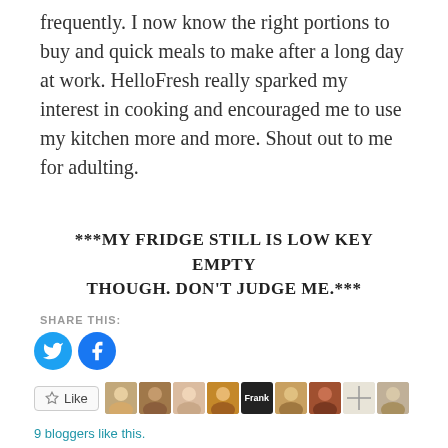frequently. I now know the right portions to buy and quick meals to make after a long day at work. HelloFresh really sparked my interest in cooking and encouraged me to use my kitchen more and more. Shout out to me for adulting.
***MY FRIDGE STILL IS LOW KEY EMPTY THOUGH. DON'T JUDGE ME.***
SHARE THIS:
[Figure (other): Twitter and Facebook share icon buttons (cyan/blue circles with bird and f logos)]
[Figure (other): Like button with star icon and a row of blogger avatar thumbnails]
9 bloggers like this.